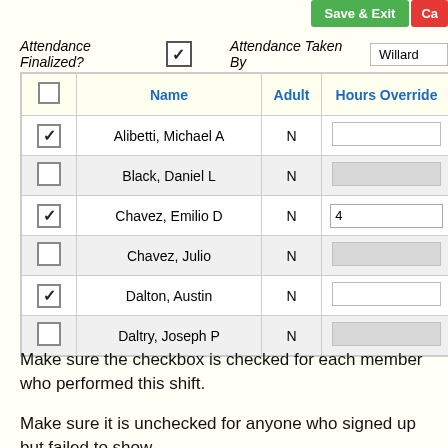[Figure (screenshot): Save & Exit and Cancel buttons in top right corner]
Attendance Finalized? ✓   Attendance Taken By   Willard
|  | Name | Adult | Hours Override |  |
| --- | --- | --- | --- | --- |
| ✓ | Alibetti, Michael A | N |  |  |
|  | Black, Daniel L | N |  |  |
| ✓ | Chavez, Emilio D | N | 4 | Had t |
|  | Chavez, Julio | N |  |  |
| ✓ | Dalton, Austin | N |  |  |
|  | Daltry, Joseph P | N |  |  |
Make sure the checkbox is checked for each member who performed this shift.
Make sure it is unchecked for anyone who signed up but failed to show.